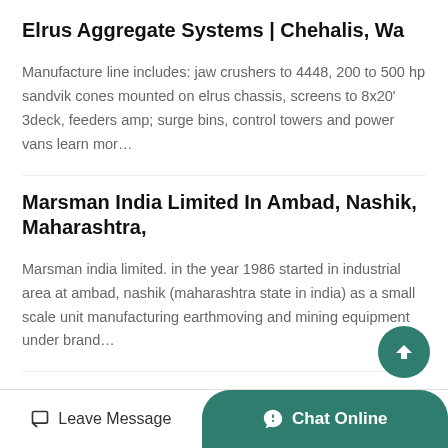Elrus Aggregate Systems | Chehalis, Wa
Manufacture line includes: jaw crushers to 4448, 200 to 500 hp sandvik cones mounted on elrus chassis, screens to 8x20' 3deck, feeders amp; surge bins, control towers and power vans learn mor…
Marsman India Limited In Ambad, Nashik, Maharashtra,
Marsman india limited. in the year 1986 started in industrial area at ambad, nashik (maharashtra state in india) as a small scale unit manufacturing earthmoving and mining equipment under brand…
Crushing Plant Mumbai
Established in the year 2012 at mumbai, maharashtra, we rmj
Leave Message  Chat Online